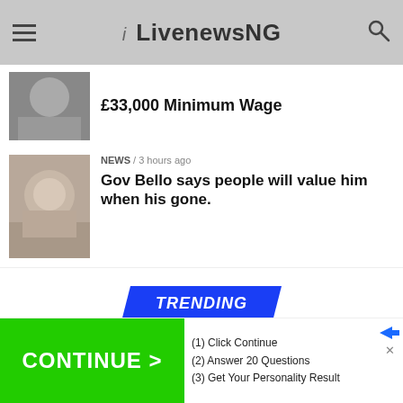LivenewsNG
£33,000 Minimum Wage
NEWS / 3 hours ago
Gov Bello says people will value him when his gone.
TRENDING
[Figure (screenshot): Advertisement banner with green CONTINUE > button and text: (1) Click Continue, (2) Answer 20 Questions, (3) Get Your Personality Result]